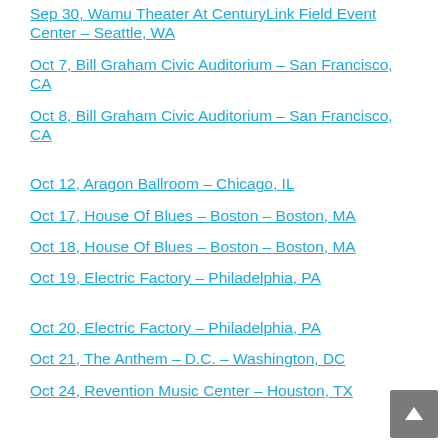Sep 30, Wamu Theater At CenturyLink Field Event Center – Seattle, WA
Oct 7, Bill Graham Civic Auditorium – San Francisco, CA
Oct 8, Bill Graham Civic Auditorium – San Francisco, CA
Oct 12, Aragon Ballroom – Chicago, IL
Oct 17, House Of Blues – Boston – Boston, MA
Oct 18, House Of Blues – Boston – Boston, MA
Oct 19, Electric Factory – Philadelphia, PA
Oct 20, Electric Factory – Philadelphia, PA
Oct 21, The Anthem – D.C. – Washington, DC
Oct 24, Revention Music Center – Houston, TX